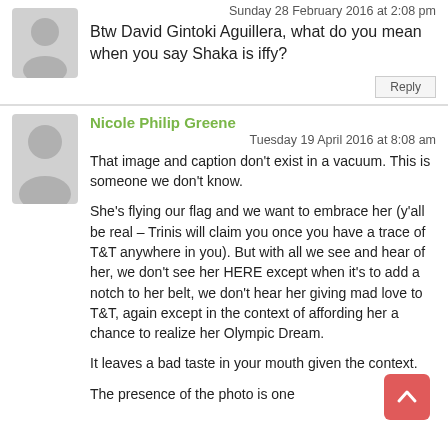[Figure (illustration): Gray silhouette avatar of a person, first comment]
Sunday 28 February 2016 at 2:08 pm
Btw David Gintoki Aguillera, what do you mean when you say Shaka is iffy?
Reply
[Figure (illustration): Gray silhouette avatar of a person, Nicole Philip Greene's comment]
Nicole Philip Greene
Tuesday 19 April 2016 at 8:08 am
That image and caption don't exist in a vacuum. This is someone we don't know.
She's flying our flag and we want to embrace her (y'all be real – Trinis will claim you once you have a trace of T&T anywhere in you). But with all we see and hear of her, we don't see her HERE except when it's to add a notch to her belt, we don't hear her giving mad love to T&T, again except in the context of affording her a chance to realize her Olympic Dream.
It leaves a bad taste in your mouth given the context.
The presence of the photo is one